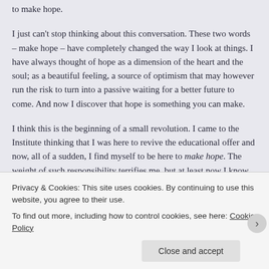to make hope.
I just can't stop thinking about this conversation. These two words – make hope – have completely changed the way I look at things. I have always thought of hope as a dimension of the heart and the soul; as a beautiful feeling, a source of optimism that may however run the risk to turn into a passive waiting for a better future to come. And now I discover that hope is something you can make.
I think this is the beginning of a small revolution. I came to the Institute thinking that I was here to revive the educational offer and now, all of a sudden, I find myself to be here to make hope. The weight of such responsibility terrifies me, but at least now I know that I am in a domain that is familiar: whether I succeed or not is a different story, but at least I can try
Privacy & Cookies: This site uses cookies. By continuing to use this website, you agree to their use.
To find out more, including how to control cookies, see here: Cookie Policy
Close and accept